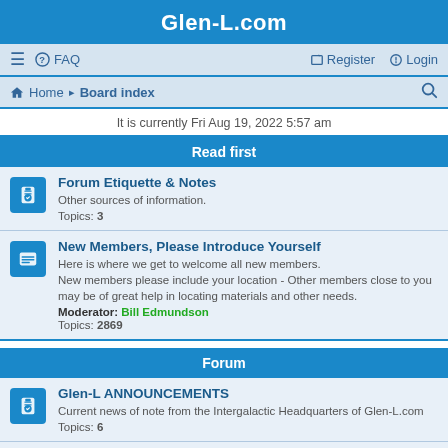Glen-L.com
☰  FAQ    Register  Login
Home · Board index
It is currently Fri Aug 19, 2022 5:57 am
Read first
Forum Etiquette & Notes
Other sources of information.
Topics: 3
New Members, Please Introduce Yourself
Here is where we get to welcome all new members.
New members please include your location - Other members close to you may be of great help in locating materials and other needs.
Moderator: Bill Edmundson
Topics: 2869
Forum
Glen-L ANNOUNCEMENTS
Current news of note from the Intergalactic Headquarters of Glen-L.com
Topics: 6
Where (and HOW) to Post YOUR Photos
All about the Special Area we've created so everyone can easily find photos of your boat/build.
Topics: 1